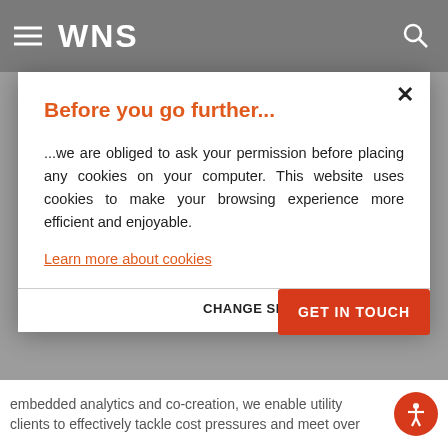[Figure (screenshot): WNS website navigation bar with hamburger menu icon, WNS logo in white text, and search icon on grey background]
Before you go further...
...we are obliged to ask your permission before placing any cookies on your computer. This website uses cookies to make your browsing experience more efficient and enjoyable.
Learn more about cookies
CHANGE SETTINGS
I AGREE
GET IN TOUCH
embedded analytics and co-creation, we enable utility clients to effectively tackle cost pressures and meet over